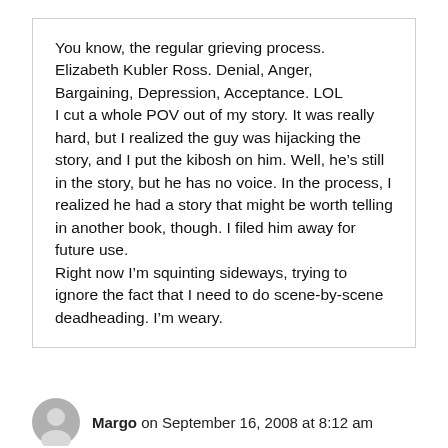You know, the regular grieving process. Elizabeth Kubler Ross. Denial, Anger, Bargaining, Depression, Acceptance. LOL
I cut a whole POV out of my story. It was really hard, but I realized the guy was hijacking the story, and I put the kibosh on him. Well, he’s still in the story, but he has no voice. In the process, I realized he had a story that might be worth telling in another book, though. I filed him away for future use.
Right now I’m squinting sideways, trying to ignore the fact that I need to do scene-by-scene deadheading. I’m weary.
Reply
Margo on September 16, 2008 at 8:12 am